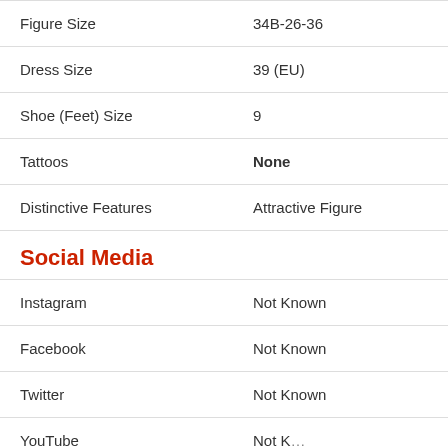| Figure Size | 34B-26-36 |
| Dress Size | 39 (EU) |
| Shoe (Feet) Size | 9 |
| Tattoos | None |
| Distinctive Features | Attractive Figure |
Social Media
| Instagram | Not Known |
| Facebook | Not Known |
| Twitter | Not Known |
| YouTube | Not Known |